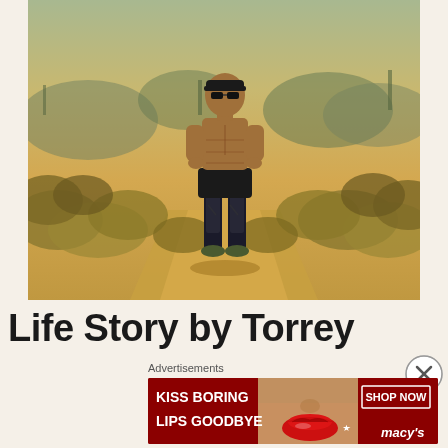[Figure (photo): A muscular shirtless man wearing black shorts, tall black compression socks, and sneakers, posing with hands on hips on a desert trail path. Surrounding landscape features dry brush, desert shrubs, sandy terrain, and sparse green cacti in the background. The scene appears to be in a Southwestern US desert environment.]
Life Story by Torrey
[Figure (photo): Advertisement banner: Red background with text 'KISS BORING LIPS GOODBYE' in white bold letters on left. Center shows a woman's face with bright red lips. Right side has 'SHOP NOW' button in white border and 'macys' logo with star.]
Advertisements